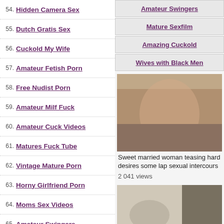54. Hidden Camera Sex
55. Dutch Gratis Sex
56. Cuckold My Wife
57. Amateur Fetish Porn
58. Free Nudist Porn
59. Amateur Milf Fuck
60. Amateur Cuck Videos
61. Matures Fuck Tube
62. Vintage Mature Porn
63. Horny Girlfriend Porn
64. Moms Sex Videos
65. Amateur Swingers
66. Amateur Milf Vids
67. Wife Home Sex Tapes
68. Porno Tube Francais
69. Mature Sexfilm
Amateur Swingers
Mature Sexfilm
Amazing Cuckold
Wives with Black Men
[Figure (photo): Woman in lingerie on bed]
Sweet married woman teasing hard desires some lap sexual intercours
2 041 views
[Figure (photo): Close up photo]